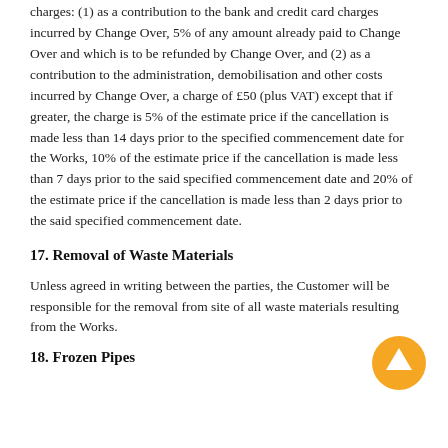charges: (1) as a contribution to the bank and credit card charges incurred by Change Over, 5% of any amount already paid to Change Over and which is to be refunded by Change Over, and (2) as a contribution to the administration, demobilisation and other costs incurred by Change Over, a charge of £50 (plus VAT) except that if greater, the charge is 5% of the estimate price if the cancellation is made less than 14 days prior to the specified commencement date for the Works, 10% of the estimate price if the cancellation is made less than 7 days prior to the said specified commencement date and 20% of the estimate price if the cancellation is made less than 2 days prior to the said specified commencement date.
17. Removal of Waste Materials
Unless agreed in writing between the parties, the Customer will be responsible for the removal from site of all waste materials resulting from the Works.
18. Frozen Pipes